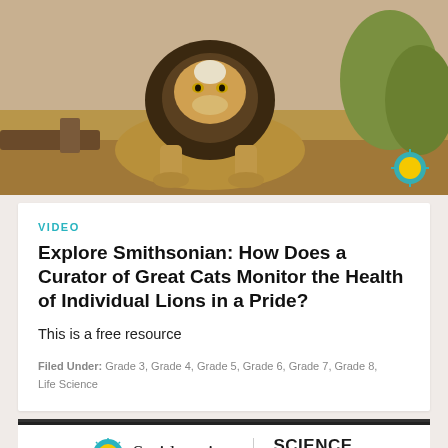[Figure (photo): Photo of a lion with a dark mane resting, looking at the camera, with sandy ground and green foliage in background. A Smithsonian logo rosette is visible in the lower right corner of the image.]
VIDEO
Explore Smithsonian: How Does a Curator of Great Cats Monitor the Health of Individual Lions in a Pride?
This is a free resource
Filed Under: Grade 3, Grade 4, Grade 5, Grade 6, Grade 7, Grade 8, Life Science
[Figure (logo): Smithsonian logo (sun/flower icon) with text 'Smithsonian' and 'SCIENCE for Global Goals' separated by a vertical line]